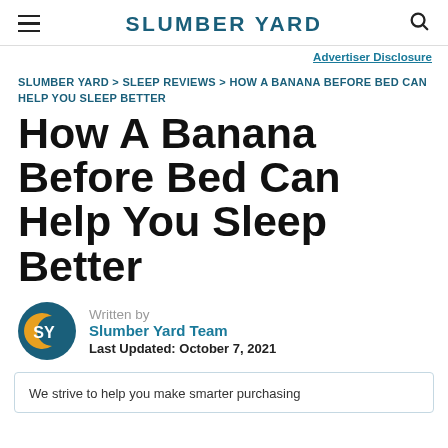SLUMBER YARD
Advertiser Disclosure
SLUMBER YARD > SLEEP REVIEWS > HOW A BANANA BEFORE BED CAN HELP YOU SLEEP BETTER
How A Banana Before Bed Can Help You Sleep Better
Written by
Slumber Yard Team
Last Updated: October 7, 2021
We strive to help you make smarter purchasing